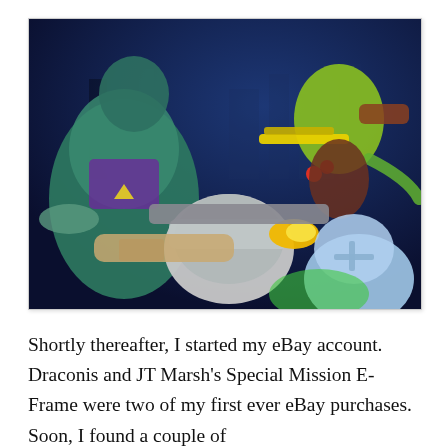[Figure (photo): Photograph of action figures including a green/teal muscular figure with a purple costume, a yellow-green armored figure holding a yellow gun, and a light blue figure in the foreground, all set against a blue background resembling a cityscape diorama.]
Shortly thereafter, I started my eBay account. Draconis and JT Marsh's Special Mission E-Frame were two of my first ever eBay purchases. Soon, I found a couple of